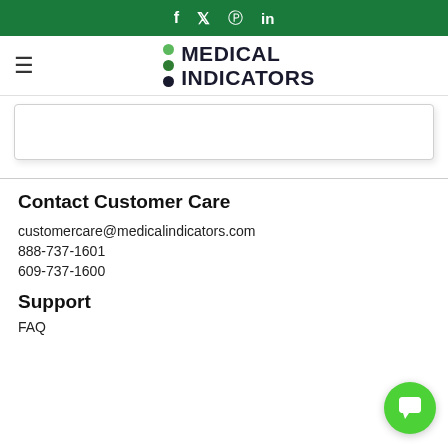f  ✦  in
[Figure (logo): Medical Indicators logo with three colored dots and bold text MEDICAL INDICATORS]
[Figure (other): White content box with border and drop shadow]
Contact Customer Care
customercare@medicalindicators.com
888-737-1601
609-737-1600
Support
FAQ